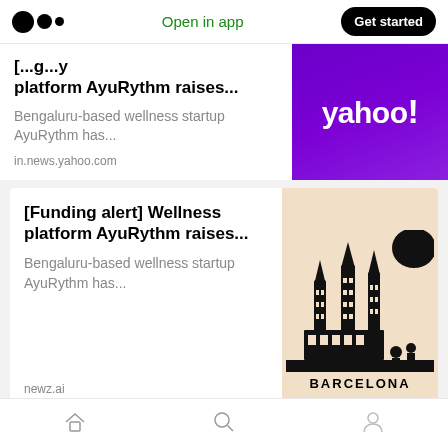Medium logo | Open in app | Get started
[...platform AyuRythm raises...
Bengaluru-based wellness startup AyuRythm has...
in.news.yahoo.com
[Figure (logo): Yahoo! logo on purple gradient background]
[Funding alert] Wellness platform AyuRythm raises...
Bengaluru-based wellness startup AyuRythm has...
newz.ai
[Figure (illustration): Barcelona skyline illustration with Sagrada Familia on beige background with BARCELONA text]
Home | Search | Profile navigation icons